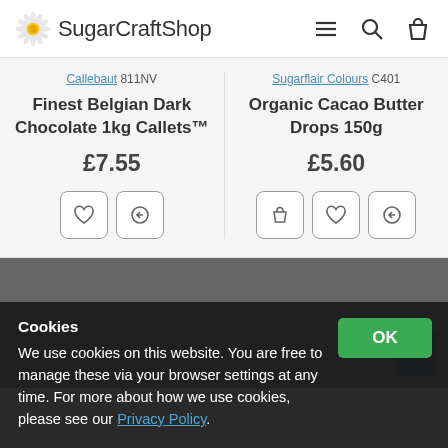SugarCraftShop
Callebaut 811NV | Finest Belgian Dark Chocolate 1kg Callets™ | £7.55
Sugarflair Colours C401 | Organic Cacao Butter Drops 150g | £5.60
Cookies
We use cookies on this website. You are free to manage these via your browser settings at any time. For more about how we use cookies, please see our Privacy Policy.